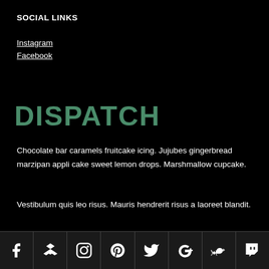SOCIAL LINKS
Instagram
Facebook
DISPATCH
Chocolate bar caramels fruitcake icing. Jujubes gingerbread marzipan appli cake sweet lemon drops. Marshmallow cupcake.
Vestibulum quis leo risus. Mauris hendrerit risus a laoreet blandit.
[Figure (infographic): Row of 8 social media icons: Facebook, Dropbox, Instagram, Pinterest, Twitter, Google+, SoundCloud, Twitch — white icons on dark grey background with dividers between each icon cell.]